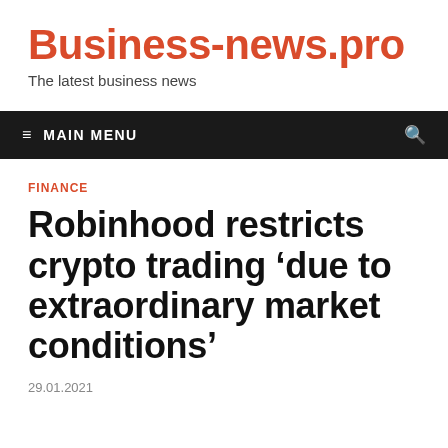Business-news.pro
The latest business news
≡ MAIN MENU
FINANCE
Robinhood restricts crypto trading ‘due to extraordinary market conditions’
29.01.2021